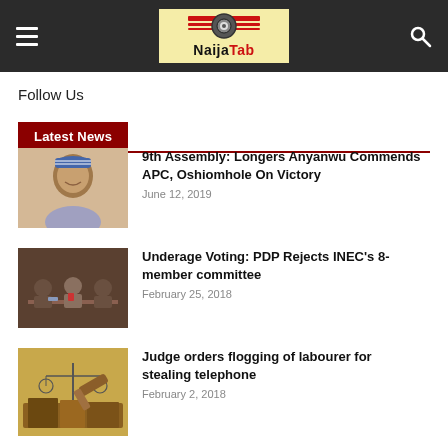NaijaTab - navigation header with hamburger menu, logo, and search icon
Follow Us
Latest News
[Figure (photo): Photo of a man in a cap smiling]
9th Assembly: Longers Anyanwu Commends APC, Oshiomhole On Victory
June 12, 2019
[Figure (photo): Photo of people seated at a conference table]
Underage Voting: PDP Rejects INEC's 8-member committee
February 25, 2018
[Figure (photo): Photo of scales of justice and gavel on books]
Judge orders flogging of labourer for stealing telephone
February 2, 2018